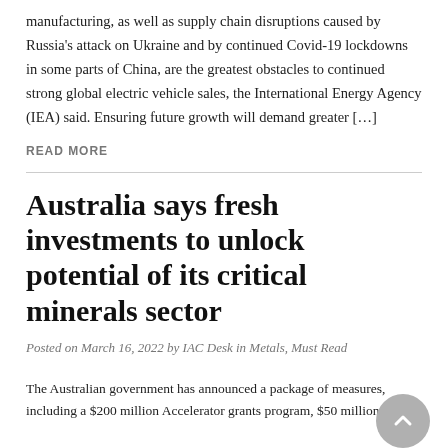manufacturing, as well as supply chain disruptions caused by Russia's attack on Ukraine and by continued Covid-19 lockdowns in some parts of China, are the greatest obstacles to continued strong global electric vehicle sales, the International Energy Agency (IEA) said. Ensuring future growth will demand greater […]
READ MORE
Australia says fresh investments to unlock potential of its critical minerals sector
Posted on March 16, 2022 by IAC Desk in Metals, Must Read
The Australian government has announced a package of measures, including a $200 million Accelerator grants program, $50 million to